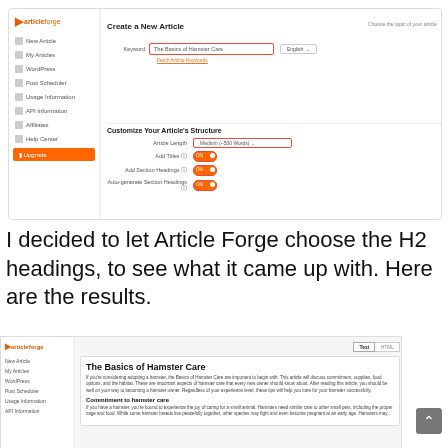[Figure (screenshot): Screenshot of Article Forge web application showing 'Create a New Article' interface with a keyword input field containing 'The Basics of Hamster Care', language dropdown set to 'English', and 'Customize Your Article's Structure' section with Article Length set to 'Medium (~500 Words)' and toggles for Add Titles, Add Section Headings, and Auto-generate Section Headings all turned ON. A red annotation points to the keyword field saying 'Input your chosen keyword and select your desired word count.']
I decided to let Article Forge choose the H2 headings, to see what it came up with. Here are the results.
[Figure (screenshot): Screenshot of Article Forge showing a generated article titled 'The Basics of Hamster Care' with introductory body text and a subheading 'Commitment to hamster care' followed by more body text. The sidebar shows navigation items. Tabs 'Text' and 'HTML' appear in the top right.]